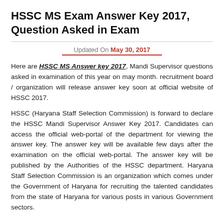HSSC MS Exam Answer Key 2017, Question Asked in Exam
Updated On May 30, 2017
Here are HSSC MS Answer key 2017, Mandi Supervisor questions asked in examination of this year on may month. recruitment board / organization will release answer key soon at official website of HSSC 2017.
HSSC (Haryana Staff Selection Commission) is forward to declare the HSSC Mandi Supervisor Answer Key 2017. Candidates can access the official web-portal of the department for viewing the answer key. The answer key will be available few days after the examination on the official web-portal. The answer key will be published by the Authorities of the HSSC department. Haryana Staff Selection Commission is an organization which comes under the Government of Haryana for recruiting the talented candidates from the state of Haryana for various posts in various Government sectors.